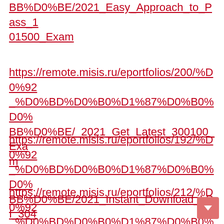BB%D0%BE/2021_Easy_Approach_to_Pass_101500_Exam
https://remote.misis.ru/eportfolios/200/%D0%92_%D0%BD%D0%B0%D1%87%D0%B0%D0%BB%D0%BE/_2021_Get_Latest_300100_Exam
https://remote.misis.ru/eportfolios/192/%D0%92_%D0%BD%D0%B0%D1%87%D0%B0%D0%BB%D0%BE/2021_Instant_Download_LPI_304200_PDF_Exam__Promised_Success
https://remote.misis.ru/eportfolios/212/%D0%92_%D0%BD%D0%B0%D1%87%D0%B0%D0%BB%D0%BE/2021_Quickly_Download_Microsoft_98365_PDF_Exam__Promised_Success